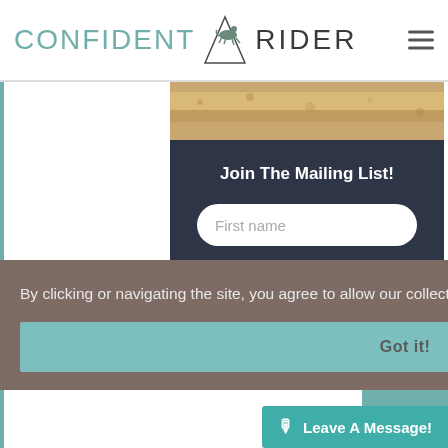[Figure (logo): Confident Rider logo with horse and rider emblem between the words CONFIDENT and RIDER]
[Figure (photo): Sandy/stone textured image strip]
Join The Mailing List!
First name
By clicking or navigating the site, you agree to allow our collection of information through cookies.  Learn more
Got it!
NEXT
Leave A Message!